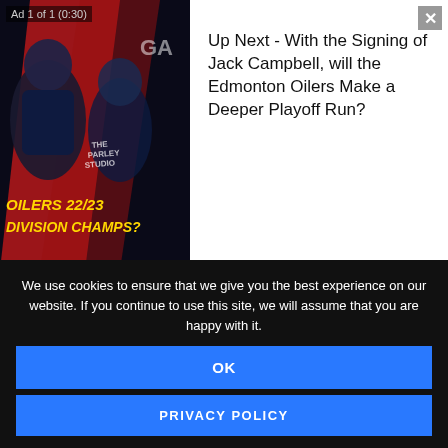[Figure (screenshot): Video ad overlay showing hockey players with text 'OILERS 22/23 DIVISION CHAMPS?' in yellow italic font. Ad label 'Ad 1 of 1 (0:30)' in top left. Close button X in top right. Right side shows 'Up Next - With the Signing of Jack Campbell, will the Edmonton Oilers Make a Deeper Playoff Run?' text panel.]
mcDavid also being human and needing to shake off some proverbial rust from basically sitting out a summer while recovering from a knee injury that he doesn't finish the play, but again, that's what preseason is for, right?
In the first two periods of last night's game, the
We use cookies to ensure that we give you the best experience on our website. If you continue to use this site, we will assume that you are happy with it.
OK
PRIVACY POLICY